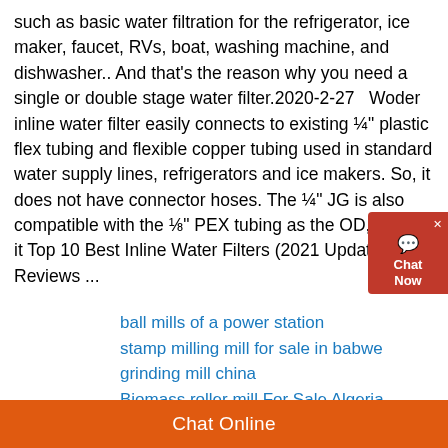such as basic water filtration for the refrigerator, ice maker, faucet, RVs, boat, washing machine, and dishwasher.. And that's the reason why you need a single or double stage water filter.2020-2-27   Woder inline water filter easily connects to existing ¼" plastic flex tubing and flexible copper tubing used in standard water supply lines, refrigerators and ice makers. So, it does not have connector hoses. The ¼" JG is also compatible with the ⅛" PEX tubing as the OD, though it Top 10 Best Inline Water Filters (2021 Update) – Reviews ...
ball mills of a power station
stamp milling mill for sale in babwe grinding mill china
Biomass roller mill For Sale Algeria
200 ton per hour gold crushing milling plant
Chat Online